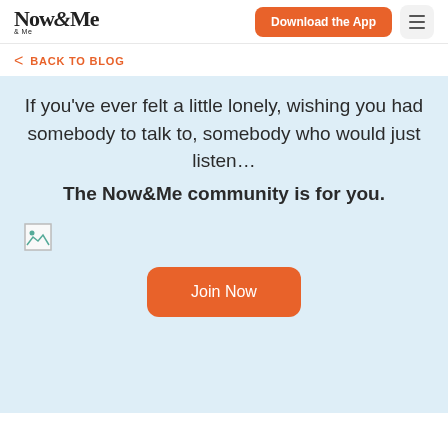Now&Me | Download the App | Menu
< BACK TO BLOG
If you've ever felt a little lonely, wishing you had somebody to talk to, somebody who would just listen... The Now&Me community is for you.
[Figure (illustration): Broken image placeholder icon]
Join Now